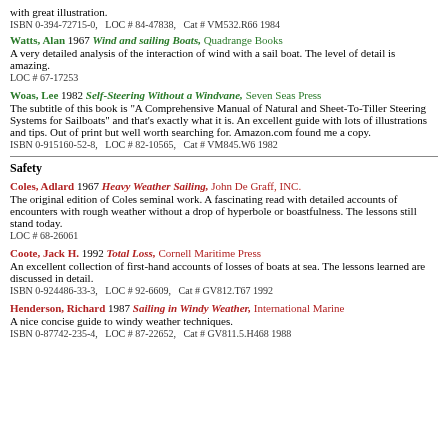with great illustration.
ISBN 0-394-72715-0,   Cat # VM532.R66 1984   LOC # 84-47838,
Watts, Alan 1967 Wind and sailing Boats, Quadrange Books
A very detailed analysis of the interaction of wind with a sail boat. The level of detail is amazing.
LOC # 67-17253
Woas, Lee 1982 Self-Steering Without a Windvane, Seven Seas Press
The subtitle of this book is "A Comprehensive Manual of Natural and Sheet-To-Tiller Steering Systems for Sailboats" and that's exactly what it is. An excellent guide with lots of illustrations and tips. Out of print but well worth searching for. Amazon.com found me a copy.
ISBN 0-915160-52-8,   LOC # 82-10565,   Cat # VM845.W6 1982
Safety
Coles, Adlard 1967 Heavy Weather Sailing, John De Graff, INC.
The original edition of Coles seminal work. A fascinating read with detailed accounts of encounters with rough weather without a drop of hyperbole or boastfulness. The lessons still stand today.
LOC # 68-26061
Coote, Jack H. 1992 Total Loss, Cornell Maritime Press
An excellent collection of first-hand accounts of losses of boats at sea. The lessons learned are discussed in detail.
ISBN 0-924486-33-3,   LOC # 92-6609,   Cat # GV812.T67 1992
Henderson, Richard 1987 Sailing in Windy Weather, International Marine
A nice concise guide to windy weather techniques.
ISBN 0-87742-235-4,   LOC # 87-22652,   Cat # GV811.5.H468 1988